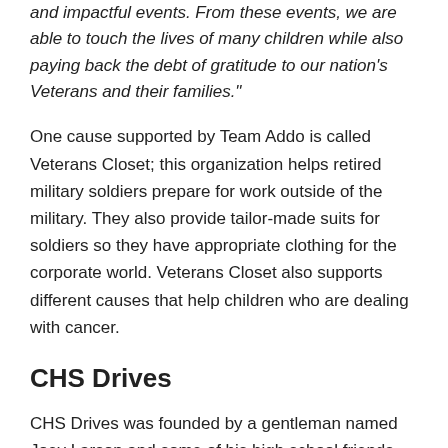and impactful events. From these events, we are able to touch the lives of many children while also paying back the debt of gratitude to our nation's Veterans and their families."
One cause supported by Team Addo is called Veterans Closet; this organization helps retired military soldiers prepare for work outside of the military. They also provide tailor-made suits for soldiers so they have appropriate clothing for the corporate world. Veterans Closet also supports different causes that help children who are dealing with cancer.
CHS Drives
CHS Drives was founded by a gentleman named Joey Larson and some of his high school friends. The